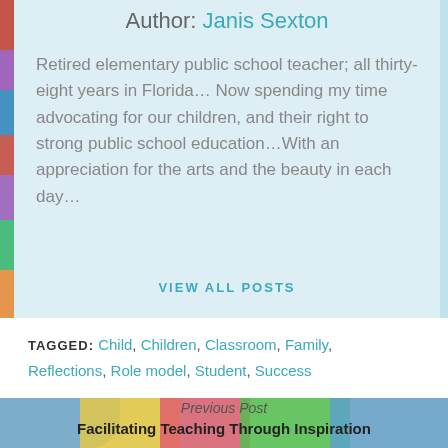Author: Janis Sexton
Retired elementary public school teacher; all thirty-eight years in Florida… Now spending my time advocating for our children, and their right to strong public school education…With an appreciation for the arts and the beauty in each day…
VIEW ALL POSTS
TAGGED: Child, Children, Classroom, Family, Reflections, Role model, Student, Success
Previous Post
Facilitating Teaching Through Inspiration